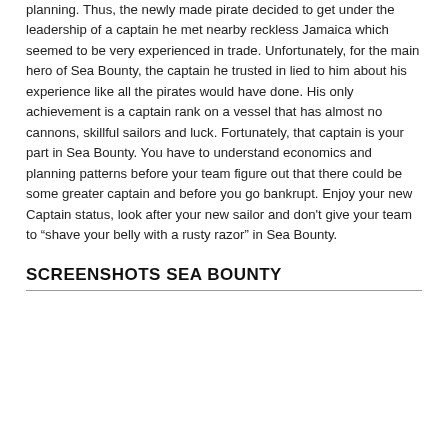planning. Thus, the newly made pirate decided to get under the leadership of a captain he met nearby reckless Jamaica which seemed to be very experienced in trade. Unfortunately, for the main hero of Sea Bounty, the captain he trusted in lied to him about his experience like all the pirates would have done. His only achievement is a captain rank on a vessel that has almost no cannons, skillful sailors and luck. Fortunately, that captain is your part in Sea Bounty. You have to understand economics and planning patterns before your team figure out that there could be some greater captain and before you go bankrupt. Enjoy your new Captain status, look after your new sailor and don't give your team to “shave your belly with a rusty razor” in Sea Bounty.
SCREENSHOTS SEA BOUNTY